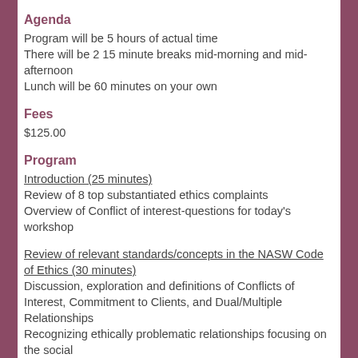Agenda
Program will be 5 hours of actual time
There will be 2 15 minute breaks mid-morning and mid-afternoon
Lunch will be 60 minutes on your own
Fees
$125.00
Program
Introduction (25 minutes)
Review of 8 top substantiated ethics complaints
Overview of Conflict of interest-questions for today's workshop
Review of relevant standards/concepts in the NASW Code of Ethics (30 minutes)
Discussion, exploration and definitions of Conflicts of Interest, Commitment to Clients, and Dual/Multiple Relationships
Recognizing ethically problematic relationships focusing on the social